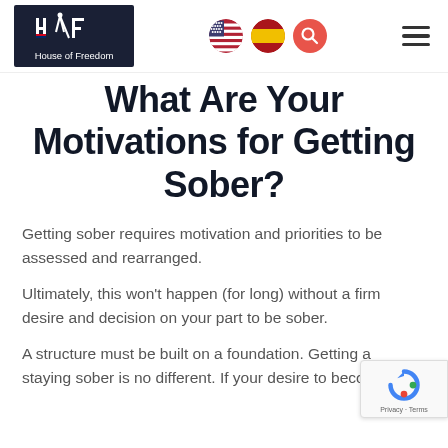House of Freedom — navigation header with logo, US flag, Spain flag, search, and hamburger menu
What Are Your Motivations for Getting Sober?
Getting sober requires motivation and priorities to be assessed and rearranged.
Ultimately, this won't happen (for long) without a firm desire and decision on your part to be sober.
A structure must be built on a foundation. Getting and staying sober is no different. If your desire to become